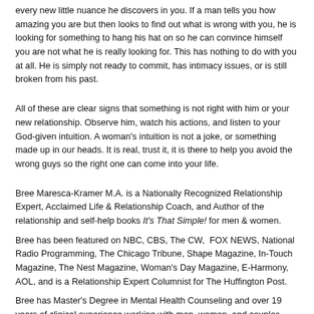every new little nuance he discovers in you. If a man tells you how amazing you are but then looks to find out what is wrong with you, he is looking for something to hang his hat on so he can convince himself you are not what he is really looking for. This has nothing to do with you at all. He is simply not ready to commit, has intimacy issues, or is still broken from his past.
All of these are clear signs that something is not right with him or your new relationship. Observe him, watch his actions, and listen to your God-given intuition. A woman's intuition is not a joke, or something made up in our heads. It is real, trust it, it is there to help you avoid the wrong guys so the right one can come into your life.
Bree Maresca-Kramer M.A. is a Nationally Recognized Relationship Expert, Acclaimed Life & Relationship Coach, and Author of the relationship and self-help books It's That Simple! for men & women.
Bree has been featured on NBC, CBS, The CW, FOX NEWS, National Radio Programming, The Chicago Tribune, Shape Magazine, In-Touch Magazine, The Nest Magazine, Woman's Day Magazine, E-Harmony, AOL, and is a Relationship Expert Columnist for The Huffington Post.
Bree has Master's Degree in Mental Health Counseling and over 19 years of clinical experience working with men, women, and couples.